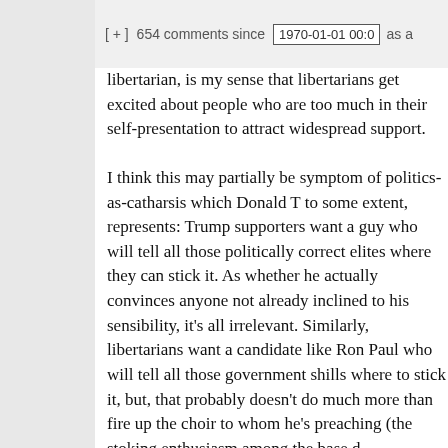[ + ]  654 comments since  1970-01-01 00:0
libertarian, is my sense that libertarians get excited about people who are too much in their self-presentation to attract widespread support.

I think this may partially be symptom of politics-as-catharsis which Donald T to some extent, represents: Trump supporters want a guy who will tell all those politically correct elites where they can stick it. As whether he actually convinces anyone not already inclined to his sensibility, it's all irrelevant. Similarly, libertarians want a candidate like Ron Paul who will tell all those government shills where to stick it, but, that probably doesn't do much more than fire up the choir to whom he's preaching (the stoking enthusiasm among the base...